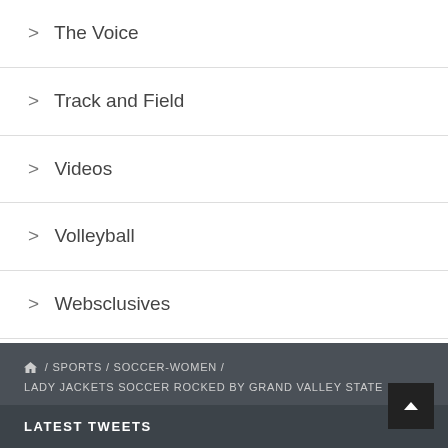> The Voice
> Track and Field
> Videos
> Volleyball
> Websclusives
/ SPORTS / SOCCER-WOMEN / LADY JACKETS SOCCER ROCKED BY GRAND VALLEY STATE
LATEST TWEETS